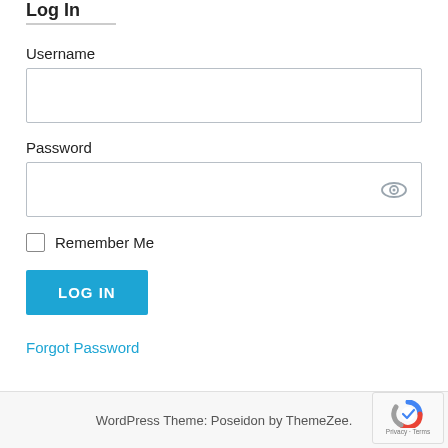Log In
Username
[Figure (screenshot): Empty username text input field]
Password
[Figure (screenshot): Empty password text input field with eye icon for show/hide]
Remember Me (checkbox, unchecked)
[Figure (screenshot): Blue LOG IN button]
Forgot Password
WordPress Theme: Poseidon by ThemeZee.